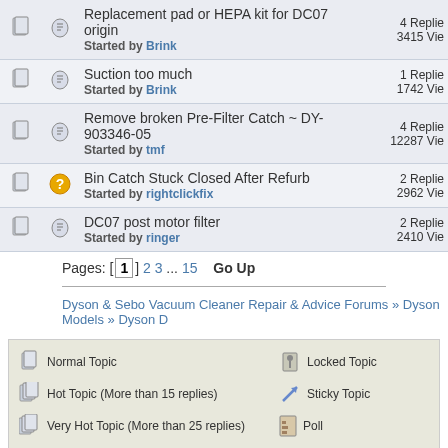|  |  | Topic | Stats |
| --- | --- | --- | --- |
| [icon] | [icon] | Replacement pad or HEPA kit for DC07 origin
Started by Brink | 4 Replies
3415 Views |
| [icon] | [icon] | Suction too much
Started by Brink | 1 Replies
1742 Views |
| [icon] | [icon] | Remove broken Pre-Filter Catch ~ DY-903346-05
Started by tmf | 4 Replies
12287 Views |
| [icon] | [icon] | Bin Catch Stuck Closed After Refurb
Started by rightclickfix | 2 Replies
2962 Views |
| [icon] | [icon] | DC07 post motor filter
Started by ringer | 2 Replies
2410 Views |
Pages: [1] 2 3 ... 15  Go Up
Dyson & Sebo Vacuum Cleaner Repair & Advice Forums » Dyson Models » Dyson D
Normal Topic | Locked Topic | Hot Topic (More than 15 replies) | Sticky Topic | Very Hot Topic (More than 25 replies) | Poll